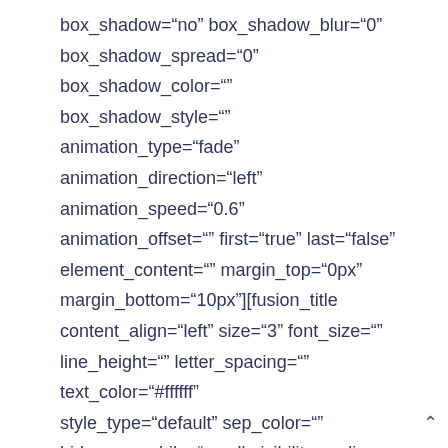box_shadow="no" box_shadow_blur="0" box_shadow_spread="0" box_shadow_color="" box_shadow_style="" animation_type="fade" animation_direction="left" animation_speed="0.6" animation_offset="" first="true" last="false" element_content="" margin_top="0px" margin_bottom="10px"][fusion_title content_align="left" size="3" font_size="" line_height="" letter_spacing="" text_color="#ffffff" style_type="default" sep_color="" hide_on_mobile="small-visibility,medium-visibility,large-visibility" class="" id="" margin_top="0px" margin_bottom="12px"]Life Hacks[/fusion_title] [fusion_text columns="" column_min_width="" column_spacing="" rule_style="default" rule_size=""